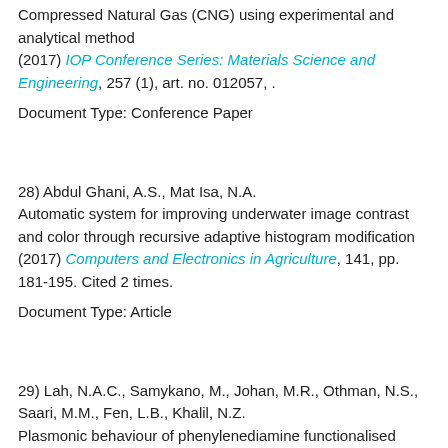Compressed Natural Gas (CNG) using experimental and analytical method (2017) IOP Conference Series: Materials Science and Engineering, 257 (1), art. no. 012057, .
Document Type: Conference Paper
28) Abdul Ghani, A.S., Mat Isa, N.A. Automatic system for improving underwater image contrast and color through recursive adaptive histogram modification (2017) Computers and Electronics in Agriculture, 141, pp. 181-195. Cited 2 times.
Document Type: Article
29) Lah, N.A.C., Samykano, M., Johan, M.R., Othman, N.S., Saari, M.M., Fen, L.B., Khalil, N.Z. Plasmonic behaviour of phenylenediamine functionalised silver nanoparticles (2017) Materials Research Express, 4 (9), art. no. 095018, . Cited 2